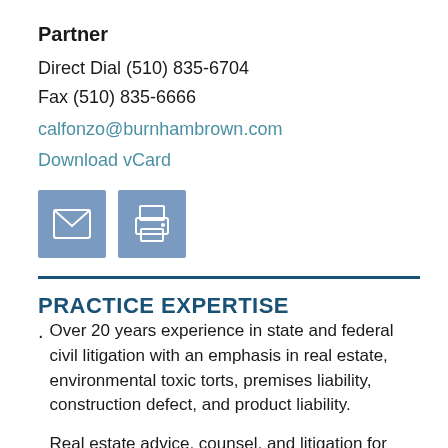Partner
Direct Dial (510) 835-6704
Fax (510) 835-6666
calfonzo@burnhambrown.com
Download vCard
[Figure (infographic): Two icon buttons: an email envelope icon and a printer icon, both on a steel-blue square background]
PRACTICE EXPERTISE
Over 20 years experience in state and federal civil litigation with an emphasis in real estate, environmental toxic torts, premises liability, construction defect, and product liability.
Real estate advice, counsel, and litigation for both commercial and residential property